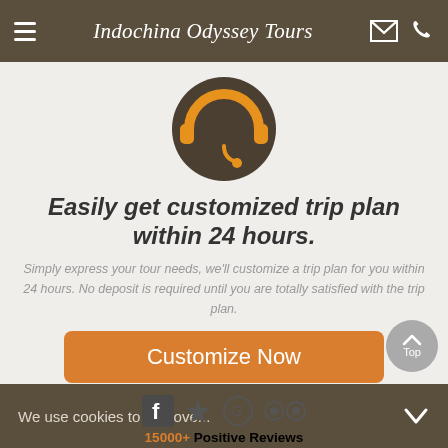Indochina Odyssey Tours
[Figure (illustration): Headset/customer support icon: dark brown circle background with orange headphones and microphone illustration]
Easily get customized trip plan within 24 hours.
Simply express your tour needs, we'll customize a trip plan for you within 24 hours. No deposit is required until you are totally satisfied with the trip plan.
Customize Now
15000+ Positive Reviews
We use cookies to improve...